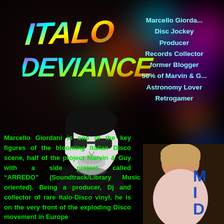[Figure (logo): Italo Deviance colorful logo text on dark background]
Marcello Giordani
Disc Jockey
Producer
Records Collector
former Blogger
50% of Marvin & G...
Astronomy Lover
Retrogamer
[Figure (illustration): Black and white portrait illustration of Marcello Giordani wearing sunglasses]
[Figure (photo): Video thumbnail showing a person with curly hair, partial text visible M, I, D]
Marcello Giordani is one of the key figures of the blooming Italian Disco scene, half of the project Marvin & Guy with a side project called “ARREDO” (Soundtrack/Library Music oriented). Being a producer, Dj and collector of rare Italo-Disco vinyl, he is on the very front of the exploding Disco movement in Europe